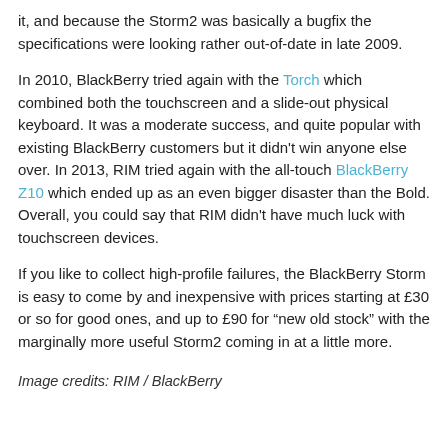it, and because the Storm2 was basically a bugfix the specifications were looking rather out-of-date in late 2009.
In 2010, BlackBerry tried again with the Torch which combined both the touchscreen and a slide-out physical keyboard. It was a moderate success, and quite popular with existing BlackBerry customers but it didn't win anyone else over. In 2013, RIM tried again with the all-touch BlackBerry Z10 which ended up as an even bigger disaster than the Bold. Overall, you could say that RIM didn't have much luck with touchscreen devices.
If you like to collect high-profile failures, the BlackBerry Storm is easy to come by and inexpensive with prices starting at £30 or so for good ones, and up to £90 for "new old stock" with the marginally more useful Storm2 coming in at a little more.
Image credits: RIM / BlackBerry